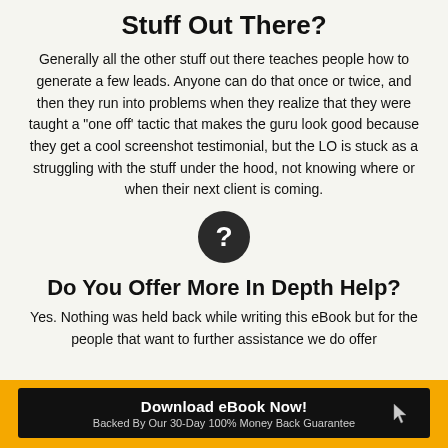Stuff Out There?
Generally all the other stuff out there teaches people how to generate a few leads. Anyone can do that once or twice, and then they run into problems when they realize that they were taught a "one off" tactic that makes the guru look good because they get a cool screenshot testimonial, but the LO is stuck as a struggling with the stuff under the hood, not knowing where or when their next client is coming.
[Figure (illustration): Dark circle icon with a white question mark]
Do You Offer More In Depth Help?
Yes. Nothing was held back while writing this eBook but for the people that want to further assistance we do offer
Download eBook Now! Backed By Our 30-Day 100% Money Back Guarantee